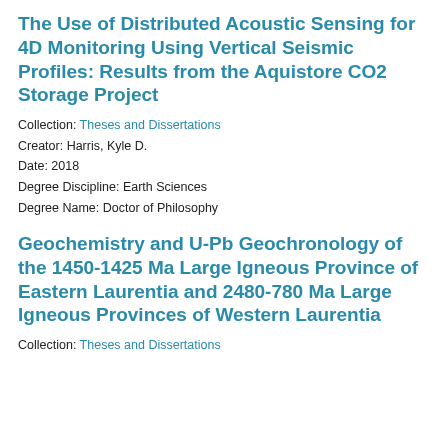The Use of Distributed Acoustic Sensing for 4D Monitoring Using Vertical Seismic Profiles: Results from the Aquistore CO2 Storage Project
Collection: Theses and Dissertations
Creator: Harris, Kyle D.
Date: 2018
Degree Discipline: Earth Sciences
Degree Name: Doctor of Philosophy
Geochemistry and U-Pb Geochronology of the 1450-1425 Ma Large Igneous Province of Eastern Laurentia and 2480-780 Ma Large Igneous Provinces of Western Laurentia
Collection: Theses and Dissertations